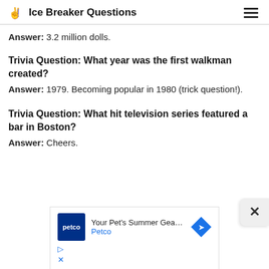Ice Breaker Questions
Answer: 3.2 million dolls.
Trivia Question: What year was the first walkman created?
Answer: 1979. Becoming popular in 1980 (trick question!).
Trivia Question: What hit television series featured a bar in Boston?
Answer: Cheers.
[Figure (other): Advertisement banner for Petco - Your Pet's Summer Gear Is Here]